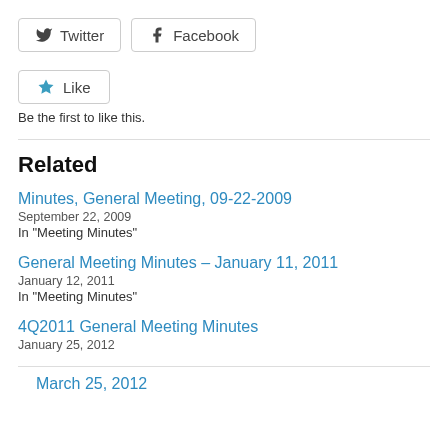[Figure (other): Twitter and Facebook share buttons]
[Figure (other): Like button with blue star icon]
Be the first to like this.
Related
Minutes, General Meeting, 09-22-2009
September 22, 2009
In "Meeting Minutes"
General Meeting Minutes – January 11, 2011
January 12, 2011
In "Meeting Minutes"
4Q2011 General Meeting Minutes
January 25, 2012
March 25, 2012